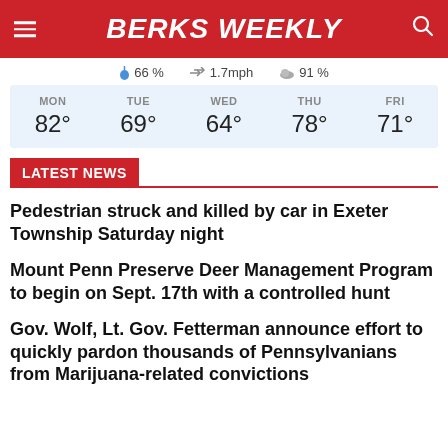BERKS WEEKLY
66 %   1.7mph   91 %
| MON | TUE | WED | THU | FRI |
| --- | --- | --- | --- | --- |
| 82° | 69° | 64° | 78° | 71° |
LATEST NEWS
Pedestrian struck and killed by car in Exeter Township Saturday night
Mount Penn Preserve Deer Management Program to begin on Sept. 17th with a controlled hunt
Gov. Wolf, Lt. Gov. Fetterman announce effort to quickly pardon thousands of Pennsylvanians from Marijuana-related convictions